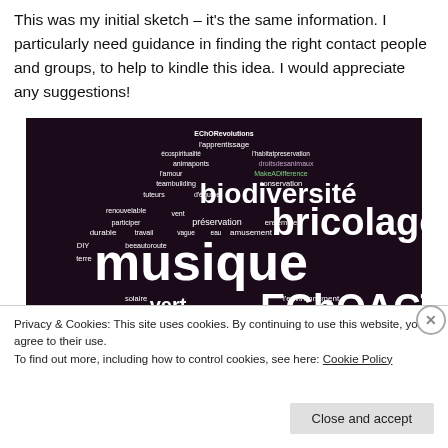This was my initial sketch – it's the same information. I particularly need guidance in finding the right contact people and groups, to help to kindle this idea. I would appreciate any suggestions!
[Figure (infographic): Word cloud on dark background featuring French and English words related to ecology, community, music, and DIY. Prominent words include: musique, bricolage, biodiversité, EChOACTiVate, communauté, vert, conservation, préservation, ensemble, l'environnement, durable, solaire, danse, célébration, protection, l'éducation, occupyearth, fauneconservation, sensibilisation, l'amusement, beeoutoroute, terre, DIY, participer, renouvelable, travail, tuteurs, teambuilding, écospiritualité, animaponts, MakeADifference, l'apprentissage, EChORevolutions, l'habitatpreservation, droitsdesanimaux, l'amour, d'équipe, vent, vague, eau, beeuatouroute, énergie, biomasse, terretuteurs, beeamusement, beeomusement.]
Privacy & Cookies: This site uses cookies. By continuing to use this website, you agree to their use.
To find out more, including how to control cookies, see here: Cookie Policy
Close and accept